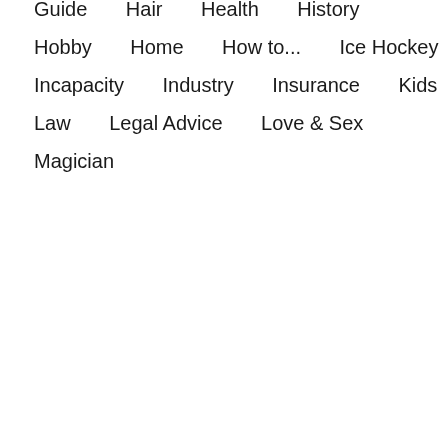Guide
Hair
Health
History
Hobby
Home
How to...
Ice Hockey
Incapacity
Industry
Insurance
Kids
Law
Legal Advice
Love & Sex
Magician